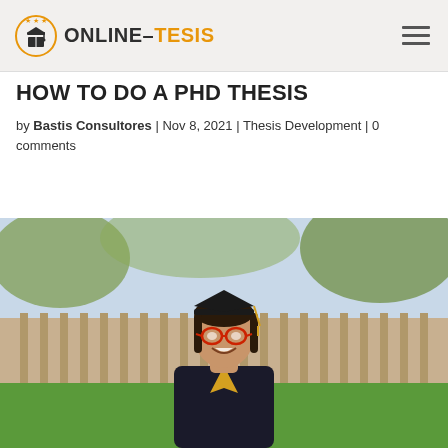ONLINE-TESIS
HOW TO DO A PHD THESIS
by Bastis Consultores | Nov 8, 2021 | Thesis Development | 0 comments
[Figure (photo): Young woman in graduation cap and gown with red glasses, smiling outdoors in front of a wooden fence with trees in background]